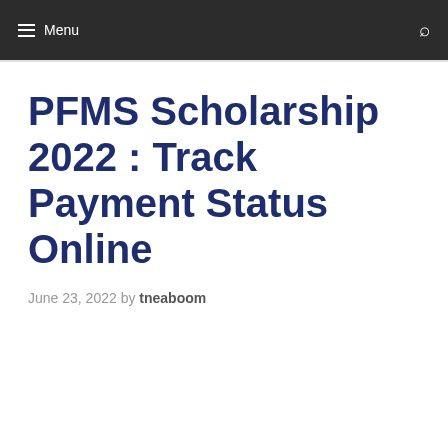≡ Menu
PFMS Scholarship 2022 : Track Payment Status Online
June 23, 2022 by tneaboom